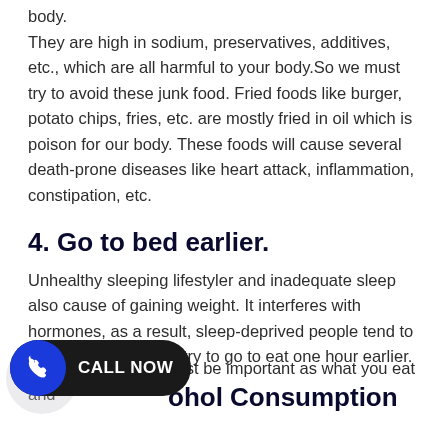body.
They are high in sodium, preservatives, additives, etc., which are all harmful to your body.So we must try to avoid these junk food. Fried foods like burger, potato chips, fries, etc. are mostly fried in oil which is poison for our body. These foods will cause several death-prone diseases like heart attack, inflammation, constipation, etc.
4. Go to bed earlier.
Unhealthy sleeping lifestyler and inadequate sleep also cause of gaining weight. It interferes with hormones, as a result, sleep-deprived people tend to overeat. So we must try to go to eat one hour earlier.
ohol Consumption
To lose your fat, It must be important as what you eat and